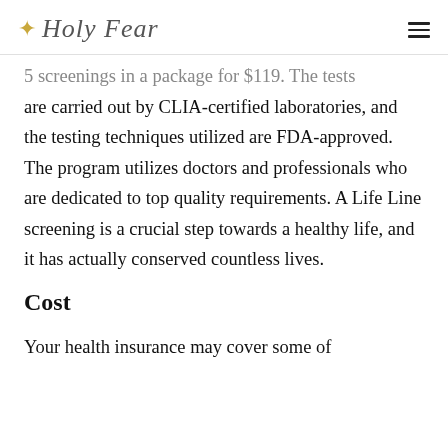✦ Holy Fear
5 screenings in a package for $119. The tests are carried out by CLIA-certified laboratories, and the testing techniques utilized are FDA-approved. The program utilizes doctors and professionals who are dedicated to top quality requirements. A Life Line screening is a crucial step towards a healthy life, and it has actually conserved countless lives.
Cost
Your health insurance may cover some of the expenses for...